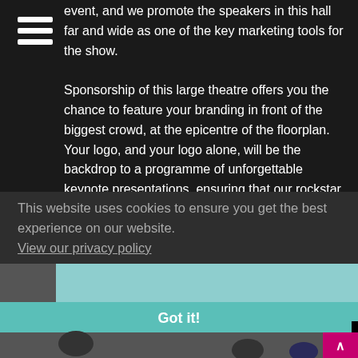event, and we promote the speakers in this hall far and wide as one of the key marketing tools for the show. Sponsorship of this large theatre offers you the chance to feature your branding in front of the biggest crowd, at the epicentre of the floorplan. Your logo, and your logo alone, will be the backdrop to a programme of unforgettable keynote presentations, ensuring that our rockstar speakers are associated with your branding long after the show.
This website uses cookies to ensure you get the best experience on our website.
View our privacy policy
Got it!
[Figure (photo): Exhibition hall photo showing Foreign Direct Investment signage, Sage branding, and attendees at a conference]